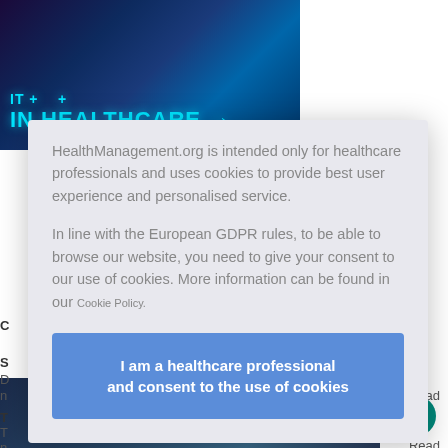[Figure (screenshot): Healthcare website banner with teal/blue gradient background and text 'IN HEALTHCARE' in large teal letters with medical icons]
HealthManagement.org is intended only for healthcare professionals and uses cookies to provide best user experience and personalised service.
In line with the European GDPR rules, to be able to browse our website, you need to give your consent to our use of cookies. More information can be found in our Cookie Policy.
I am a healthcare professional and consent to the use of cookies